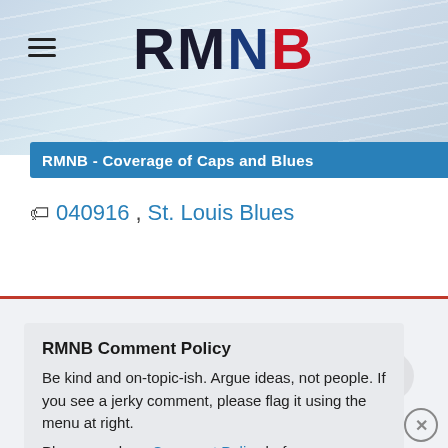RMNB
RMNB - Coverage of Caps and Blues
040916, St. Louis Blues
RMNB Comment Policy
Be kind and on-topic-ish. Argue ideas, not people. If you see a jerky comment, please flag it using the menu at right.
Please read our Comment Policy before commenting.